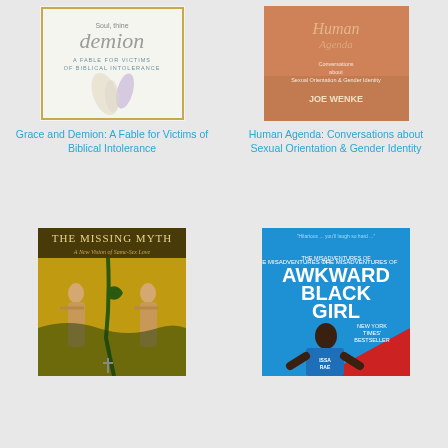[Figure (illustration): Book cover: Grace and Demion: A Fable for Victims of Biblical Intolerance — white cover with feathers and gold border, text 'demion' in large gray letters]
[Figure (illustration): Book cover: Human Agenda: Conversations about Sexual Orientation & Gender Identity by Joe Wenke — brown/orange cover with text]
Grace and Demion: A Fable for Victims of Biblical Intolerance
Human Agenda: Conversations about Sexual Orientation & Gender Identity
[Figure (illustration): Book cover: The Missing Myth: A New Vision of Same-Sex Love — mosaic art depicting Adam and Eve with serpent on gold background]
[Figure (illustration): Book cover: The Misadventures of Awkward Black Girl by Issa Rae — blue and red cover with photo of Issa Rae, New York Times Bestseller]